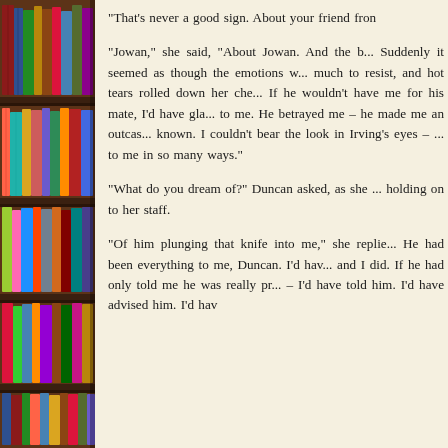[Figure (photo): Bookshelf with colorful books on the left side of the page]
"That's never a good sign. About your friend fron
"Jowan," she said, "About Jowan. And the b... Suddenly it seemed as though the emotions w... much to resist, and hot tears rolled down her che... If he wouldn't have me for his mate, I'd have gla... to me. He betrayed me – he made me an outcas... known. I couldn't bear the look in Irving's eyes – ... to me in so many ways."
"What do you dream of?" Duncan asked, as she ... holding on to her staff.
"Of him plunging that knife into me," she replie... He had been everything to me, Duncan. I'd hav... and I did. If he had only told me he was really pr... – I'd have told him. I'd have advised him. I'd hav